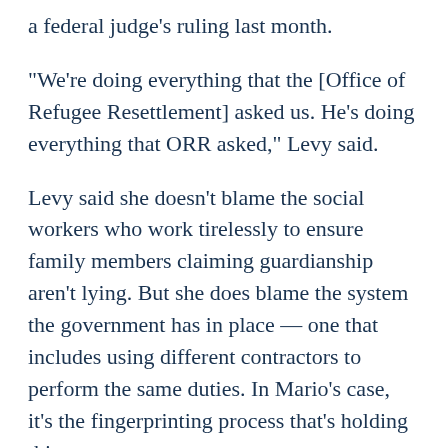a federal judge's ruling last month.
“We’re doing everything that the [Office of Refugee Resettlement] asked us. He’s doing everything that ORR asked,” Levy said.
Levy said she doesn’t blame the social workers who work tirelessly to ensure family members claiming guardianship aren’t lying. But she does blame the system the government has in place — one that includes using different contractors to perform the same duties. In Mario’s case, it’s the fingerprinting process that’s holding things up.
“For whatever reason, his daughter is in a shelter that’s run by one contractor, and the